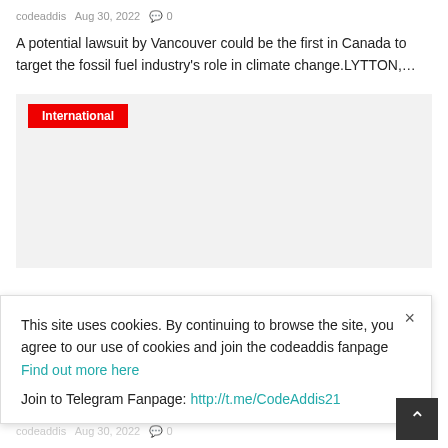codeaddis   Aug 30, 2022   0
A potential lawsuit by Vancouver could be the first in Canada to target the fossil fuel industry’s role in climate change.LYTTON,…
International
This site uses cookies. By continuing to browse the site, you agree to our use of cookies and join the codeaddis fanpage Find out more here
Join to Telegram Fanpage: http://t.me/CodeAddis21
Russia protests against Lithuania’s ban on transit
codeaddis   Aug 30, 2022   0